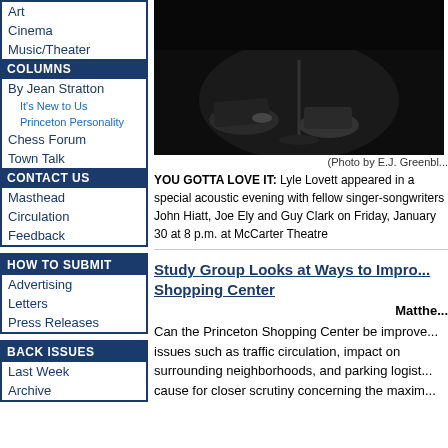Art
Cinema
Music/Theater
COLUMNS
By Jean Stratton
It's New to Us
Princeton Personality
Chess Forum
Town Talk
CONTACT US
Masthead
Circulation
Feedback
HOW TO SUBMIT
Advertising
Letters
Press Releases
BACK ISSUES
Last Week
Archive
[Figure (photo): Black and white photo showing feet/shoes on a stage, performer at McCarter Theatre]
(Photo by E.J. Greenbl...
YOU GOTTA LOVE IT: Lyle Lovett appeared in a special acoustic evening with fellow singer-songwriters John Hiatt, Joe Ely and Guy Clark on Friday, January 30 at 8 p.m. at McCarter Theatre
Study Group Looks at Ways to Improve Shopping Center
Matthew
Can the Princeton Shopping Center be improved? issues such as traffic circulation, impact on surrounding neighborhoods, and parking logistics cause for closer scrutiny concerning the maxim...